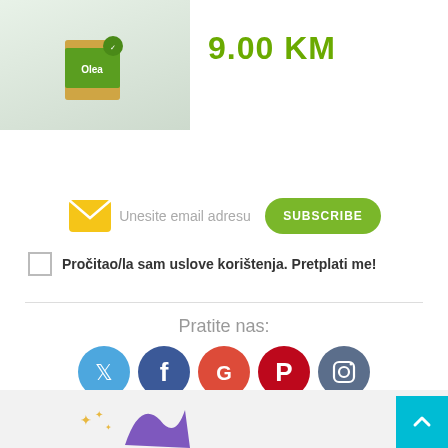[Figure (photo): Product image of Olea branded box/package on light green background]
9.00 KM
Unesite email adresu
SUBSCRIBE
Pročitao/la sam uslove korištenja. Pretplati me!
Pratite nas:
[Figure (infographic): Social media icons row: Twitter (blue), Facebook (dark blue), Google+ (red), Pinterest (dark red), Instagram (grey-blue)]
[Figure (logo): Partial logo/illustration visible at bottom footer strip]